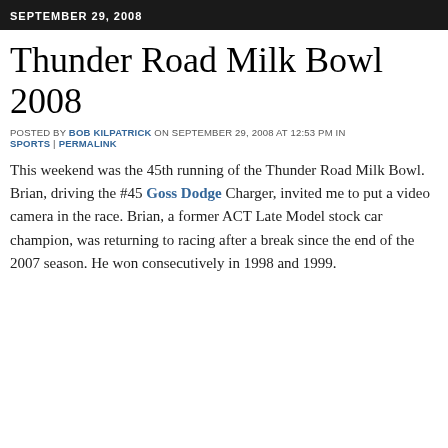SEPTEMBER 29, 2008
Thunder Road Milk Bowl 2008
POSTED BY BOB KILPATRICK ON SEPTEMBER 29, 2008 AT 12:53 PM IN SPORTS | PERMALINK
This weekend was the 45th running of the Thunder Road Milk Bowl. Brian, driving the #45 Goss Dodge Charger, invited me to put a video camera in the race. Brian, a former ACT Late Model stock car champion, was returning to racing after a break since the end of the 2007 season. He won consecutively in 1998 and 1999.